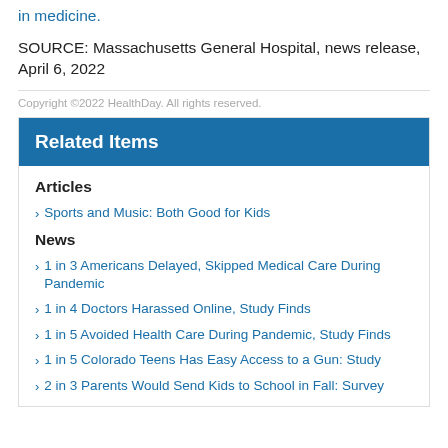in medicine.
SOURCE: Massachusetts General Hospital, news release, April 6, 2022
Copyright ©2022 HealthDay. All rights reserved.
Related Items
Articles
Sports and Music: Both Good for Kids
News
1 in 3 Americans Delayed, Skipped Medical Care During Pandemic
1 in 4 Doctors Harassed Online, Study Finds
1 in 5 Avoided Health Care During Pandemic, Study Finds
1 in 5 Colorado Teens Has Easy Access to a Gun: Study
2 in 3 Parents Would Send Kids to School in Fall: Survey